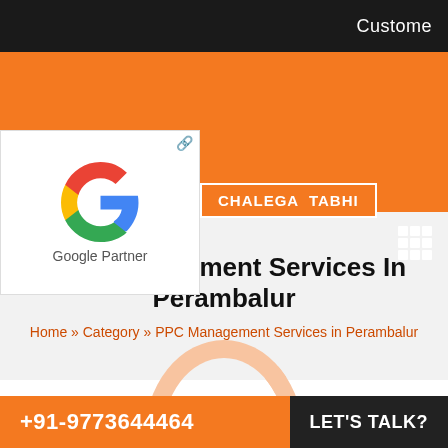Custome
[Figure (logo): Google Partner logo with colorful G icon and text 'Google Partner']
CHALEGA TABHI
PPC Management Services In Perambalur
Home » Category » PPC Management Services in Perambalur
+91-9773644644   LET'S TALK?